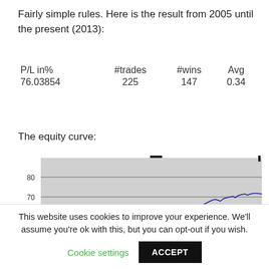Fairly simple rules. Here is the result from 2005 until the present (2013):
| P/L in% | #trades | #wins | Avg |
| --- | --- | --- | --- |
| 76.03854 | 225 | 147 | 0.34 |
The equity curve:
[Figure (line-chart): Equity curve 2005-2013]
This website uses cookies to improve your experience. We'll assume you're ok with this, but you can opt-out if you wish.